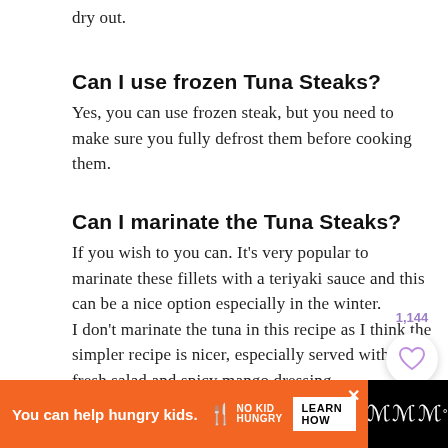dry out.
Can I use frozen Tuna Steaks?
Yes, you can use frozen steak, but you need to make sure you fully defrost them before cooking them.
Can I marinate the Tuna Steaks?
If you wish to you can. It's very popular to marinate these fillets with a teriyaki sauce and this can be a nice option especially in the winter.
I don't marinate the tuna in this recipe as I think the simpler recipe is nicer, especially served with the fresh salad and spicy mango dressing.
[Figure (other): Heart/save button with count 1,144 and purple search button overlaid on right side]
You can help hungry kids. NO KID HUNGRY LEARN HOW